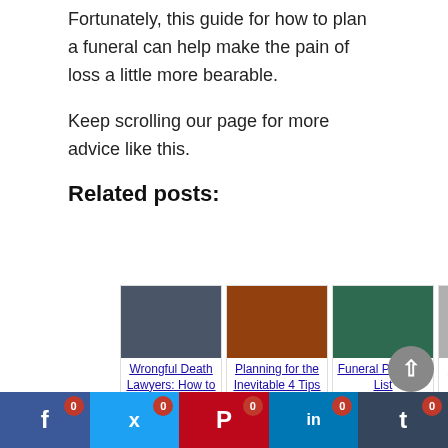Fortunately, this guide for how to plan a funeral can help make the pain of loss a little more bearable.
Keep scrolling our page for more advice like this.
Related posts:
[Figure (other): Row of 5 related post thumbnails with titles: Wrongful Death Lawyers: How to Choose, Planning for the Inevitable 4 Tips to Prepare, Funeral Planning List, How and When to Write a Will:, 6 Creative Ways to Remember a Loved]
[Figure (other): Social sharing bar with Facebook, Twitter, Pinterest, LinkedIn, Tumblr buttons each showing 0 shares, and a scroll-to-top button]